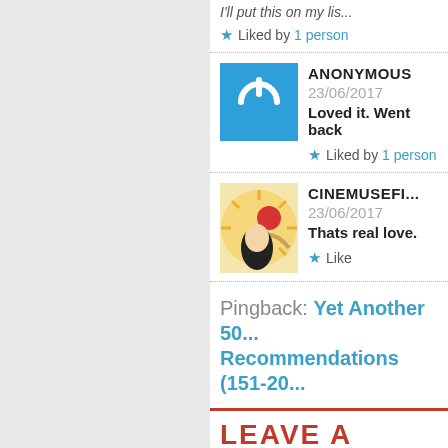I'll put this on my lis...
★ Liked by 1 person
ANONYMOUS
23/06/2017
Loved it. Went back...
★ Liked by 1 person
CINEMUSEFI...
23/06/2017
Thats real love.
★ Like
Pingback: Yet Another 50... Recommendations (151-20...
LEAVE A REPLY